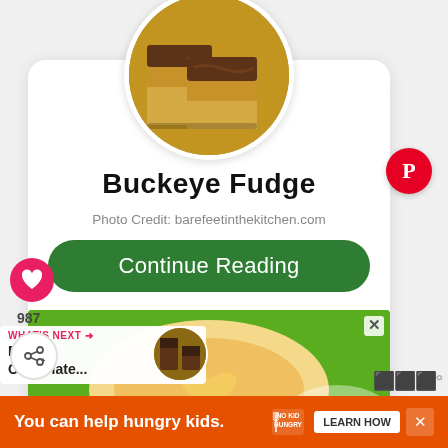[Figure (photo): Circular cropped photo of buckeye fudge squares – layered peanut butter and chocolate bars on a dark surface]
Buckeye Fudge
Photo Credit: barefeetinthekitchen.com
Continue Reading
[Figure (screenshot): Green advertisement banner showing a heart-shaped cookie being held, with the word 'cookies' in white italic text]
WHAT'S NEXT → Double Chocolate...
You can help hungry kids.
LEARN HOW